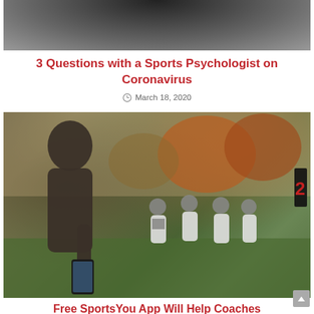[Figure (photo): Partial photo at top — person in dark clothing visible from mid-torso up against a light/wall background]
3 Questions with a Sports Psychologist on Coronavirus
March 18, 2020
[Figure (photo): A coach or analyst holding a smartphone while watching football players in white jerseys and helmets on an autumn field with orange-leafed trees in background. A red scoreboard digit is visible on the right.]
Free SportsYou App Will Help Coaches